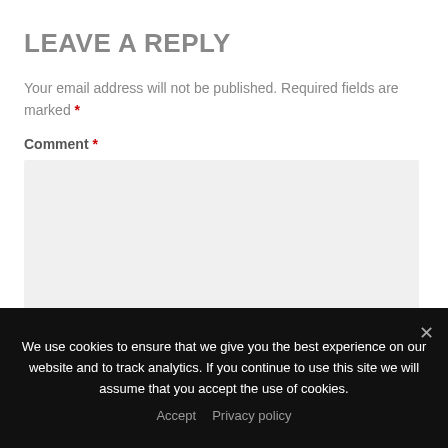LEAVE A REPLY
Your email address will not be published. Required fields are marked *
Comment *
[Figure (other): Empty comment textarea input field with light gray background]
We use cookies to ensure that we give you the best experience on our website and to track analytics. If you continue to use this site we will assume that you accept the use of cookies.
Accept  Privacy policy